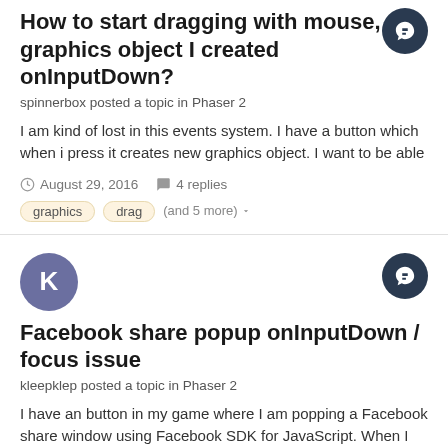How to start dragging with mouse, graphics object I created onInputDown?
spinnerbox posted a topic in Phaser 2
I am kind of lost in this events system. I have a button which when i press it creates new graphics object. I want to be able
August 29, 2016   4 replies
graphics
drag
(and 5 more)
Facebook share popup onInputDown / focus issue
kleepklep posted a topic in Phaser 2
I have an button in my game where I am popping a Facebook share window using Facebook SDK for JavaScript. When I
September 9, 2015   4 replies